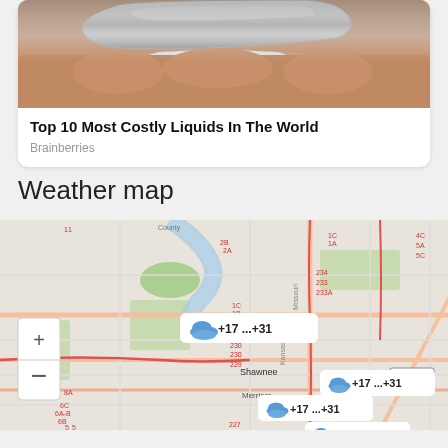[Figure (photo): Photo of shiny metal object held in hand, partially cropped at top]
Top 10 Most Costly Liquids In The World
Brainberries
Weather map
[Figure (map): Street map of Shawnee, Kansas area showing weather overlays. Multiple weather tooltips showing cloud icons with +17 ...+31 temperatures. Map includes route numbers (US 71, 231A, 232B, 234, 233, 233A, 230, 229, 227, 2A, 2B, 1A, 1B, 1C, 4C, 5A, 5C, 6A-B, 6B, 6C, 8A, 11) and roads including Missouri and Kansas labels. Zoom controls (+/-) visible on left side. Shawnee and Merriam labeled.]